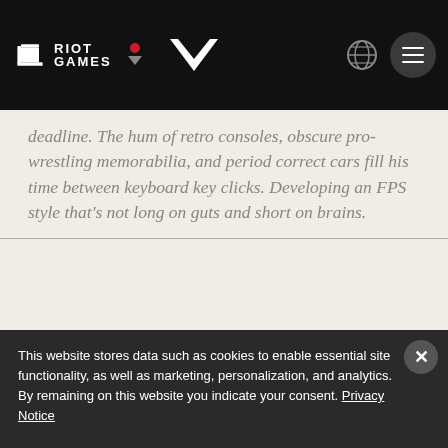RIOT GAMES [logo] [Valorant logo] [globe] [menu]
deadline. The hum of retro consoles, obscure pro-wrestling memorabilia, and period correct cars fill his time between keyboard key clicks. Developing an FPS style that's not long on guts and short on brains.
TAGS: PATCH NOTES  SAGE
This website stores data such as cookies to enable essential site functionality, as well as marketing, personalization, and analytics. By remaining on this website you indicate your consent. Privacy Notice